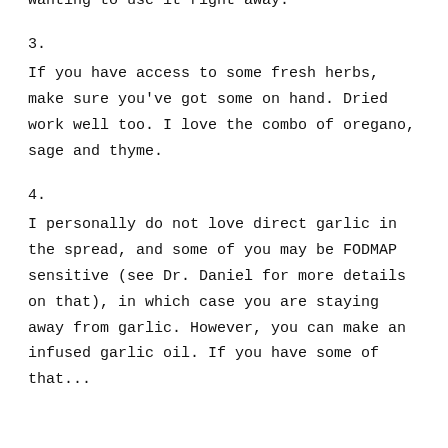days to ferment). So plan ahead if you are wanting to use it right away.
3.

If you have access to some fresh herbs, make sure you've got some on hand. Dried work well too. I love the combo of oregano, sage and thyme.
4.

I personally do not love direct garlic in the spread, and some of you may be FODMAP sensitive (see Dr. Daniel for more details on that), in which case you are staying away from garlic. However, you can make an infused garlic oil. If you have some of that...